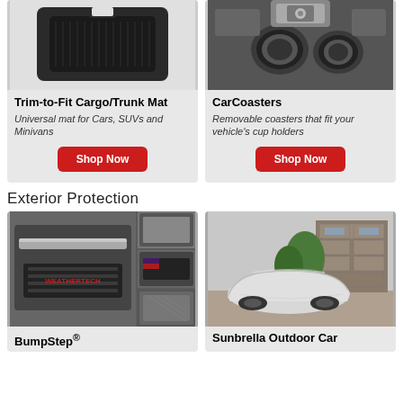[Figure (photo): Black rubber trunk/cargo mat on white background]
Trim-to-Fit Cargo/Trunk Mat
Universal mat for Cars, SUVs and Minivans
Shop Now
[Figure (photo): Car center console cup holders interior photo]
CarCoasters
Removable coasters that fit your vehicle's cup holders
Shop Now
Exterior Protection
[Figure (photo): BumpStep collage showing several bumper step products]
BumpStep®
[Figure (photo): Car covered with white Sunbrella outdoor car cover parked in driveway]
Sunbrella Outdoor Car